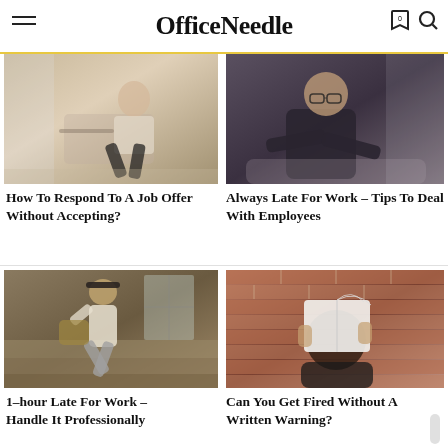OfficeNeedle
[Figure (photo): Man in white shirt sitting in modern chair in office/waiting room setting]
[Figure (photo): Man in dark jacket sitting, looking serious, wearing glasses]
How To Respond To A Job Offer Without Accepting?
Always Late For Work – Tips To Deal With Employees
[Figure (photo): Man in hat falling or jumping on stone steps outdoors]
[Figure (photo): Person holding an open book over their face against brick wall]
1–hour Late For Work – Handle It Professionally
Can You Get Fired Without A Written Warning?